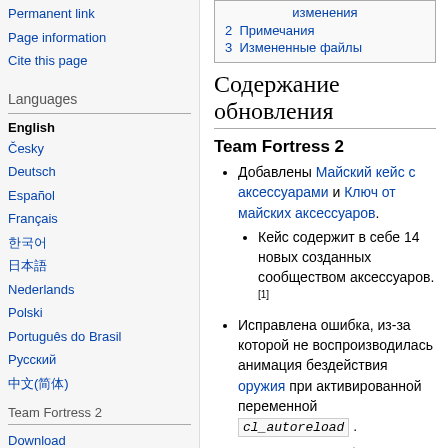Permanent link
Page information
Cite this page
Languages
English
Česky
Deutsch
Español
Français
한국어
日本語
Nederlands
Polski
Português do Brasil
Русский
中文(简体)
Team Fortress 2
Download
Blog
Updates
News Hub
Community Hub
| 2 Примечания |
| 3 Измененные файлы |
Содержание обновления
Team Fortress 2
Добавлены Майский кейс с аксессуарами и Ключ от майских аксессуаров.
Кейс содержит в себе 14 новых созданных сообществом аксессуаров.[1]
Исправлена ошибка, из-за которой не воспроизводилась анимация бездействия оружия при активированной переменной cl_autoreload .
Исправлена ошибка, из-за которой использовалось неверное название для команды